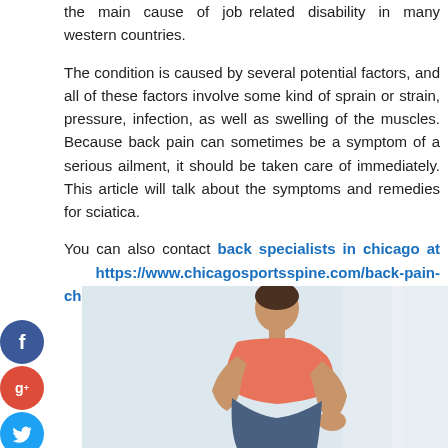the main cause of job related disability in many western countries.
The condition is caused by several potential factors, and all of these factors involve some kind of sprain or strain, pressure, infection, as well as swelling of the muscles. Because back pain can sometimes be a symptom of a serious ailment, it should be taken care of immediately. This article will talk about the symptoms and remedies for sciatica.
You can also contact back specialists in chicago at https://www.chicagosportsspine.com/back-pain-chicago.
[Figure (photo): A man in a pink/salmon shirt bending forward and holding his lower back in pain, photographed against a light background.]